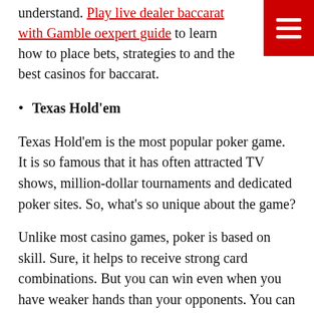understand. Play live dealer baccarat with Gamble on expert guide to learn how to place bets, strategies to and the best casinos for baccarat.
Texas Hold'em
Texas Hold'em is the most popular poker game. It is so famous that it has often attracted TV shows, million-dollar tournaments and dedicated poker sites. So, what's so unique about the game?
Unlike most casino games, poker is based on skill. Sure, it helps to receive strong card combinations. But you can win even when you have weaker hands than your opponents. You can win by reading their tell (behavior) or by bluffing expertly.
That being said, learning how to play Texas Hold'em is the